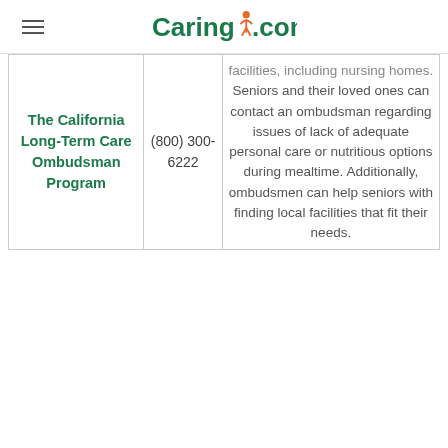Caring.com
| Name | Phone | Description |
| --- | --- | --- |
| The California Long-Term Care Ombudsman Program | (800) 300-6222 | facilities, including nursing homes. Seniors and their loved ones can contact an ombudsman regarding issues of lack of adequate personal care or nutritious options during mealtime. Additionally, ombudsmen can help seniors with finding local facilities that fit their needs. |